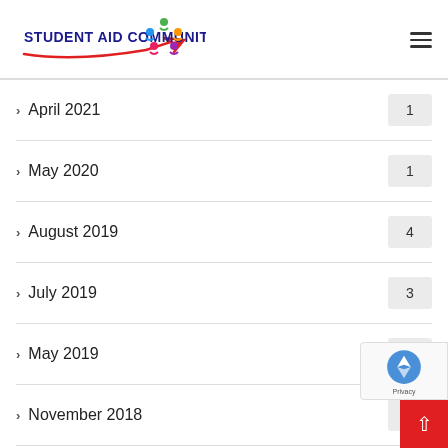[Figure (logo): Student Aid Community logo with colorful people figures and red arrow]
April 2021   1
May 2020   1
August 2019   4
July 2019   3
May 2019   11
November 2018   1
Gallery